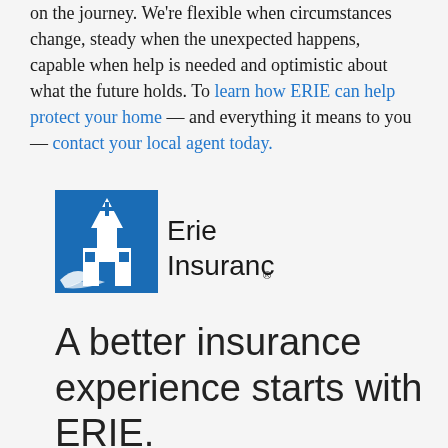on the journey. We're flexible when circumstances change, steady when the unexpected happens, capable when help is needed and optimistic about what the future holds. To learn how ERIE can help protect your home — and everything it means to you — contact your local agent today.
[Figure (logo): Erie Insurance logo — blue square with white church/building illustration and 'Erie Insurance' wordmark in black with registered trademark symbol]
A better insurance experience starts with ERIE.